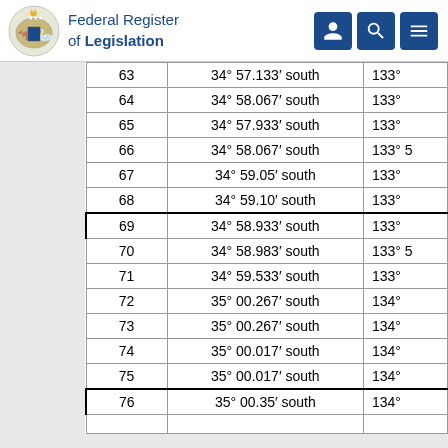Federal Register of Legislation
| Point | Latitude | Longitude |
| --- | --- | --- |
| 63 | 34° 57.133′ south | 133° |
| 64 | 34° 58.067′ south | 133° |
| 65 | 34° 57.933′ south | 133° |
| 66 | 34° 58.067′ south | 133° 5 |
| 67 | 34° 59.05′ south | 133° |
| 68 | 34° 59.10′ south | 133° |
| 69 | 34° 58.933′ south | 133° |
| 70 | 34° 58.983′ south | 133° 5 |
| 71 | 34° 59.533′ south | 133° |
| 72 | 35° 00.267′ south | 134° |
| 73 | 35° 00.267′ south | 134° |
| 74 | 35° 00.017′ south | 134° |
| 75 | 35° 00.017′ south | 134° |
| 76 | 35° 00.35′ south | 134° |